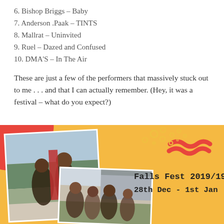6. Bishop Briggs – Baby
7. Anderson .Paak – TINTS
8. Mallrat – Uninvited
9. Ruel – Dazed and Confused
10. DMA'S – In The Air
These are just a few of the performers that massively stuck out to me . . . and that I can actually remember. (Hey, it was a festival – what do you expect?)
[Figure (photo): Festival photo collage on orange/yellow background with red splash accents and decorative circles. Shows two photos of people at a festival. Text overlay reads 'Falls Fest 2019/19' and '28th Dec - 1st Jan'.]